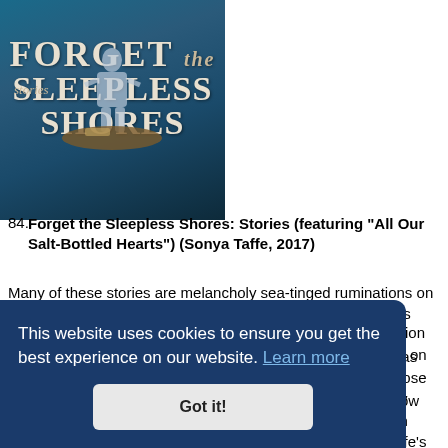[Figure (illustration): Book cover for 'Forget the Sleepless Shores: Stories' by Sonya Taffe showing a dark teal/blue background with white text and a figure sitting in a boat]
84. Forget the Sleepless Shores: Stories (featuring "All Our Salt-Bottled Hearts") (Sonya Taffe, 2017)
Many of these stories are melancholy sea-tinged ruminations on loss and desire featuring ghosts and creatures of the dark as surrogates for our own inner turmoil. The centerpiece of the collection "All Our Salt-Bottled Hearts" (and the story that was actually featured on the NPR list) is a Lovecraftian tale of those in Innsmouth left behind, destined to be apart from humanity while also unable to be accepted by their own people. It's an interesting, unique story, and I can see why it's admired. Taffe's prose for the majority of the stories is willfully obtuse, over-written and self-
...ollection ...focus on
...ow
...on ...y prose. I think a small subset of people will find Taffe's writing style absolutely
[Figure (screenshot): Cookie consent banner: 'This website uses cookies to ensure you get the best experience on our website. Learn more' with a 'Got it!' button]